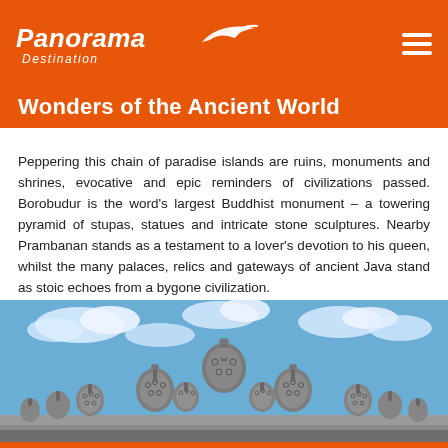Panorama Destination
Wonders of the Ancient World
Peppering this chain of paradise islands are ruins, monuments and shrines, evocative and epic reminders of civilizations passed. Borobudur is the word's largest Buddhist monument – a towering pyramid of stupas, statues and intricate stone sculptures. Nearby Prambanan stands as a testament to a lover's devotion to his queen, whilst the many palaces, relics and gateways of ancient Java stand as stoic echoes from a bygone civilization.
[Figure (photo): Photograph of Borobudur temple stupas against a blue sky with clouds. Multiple bell-shaped stone stupas with diamond-pattern lattice work are visible, with the main central stupa dominating the skyline.]